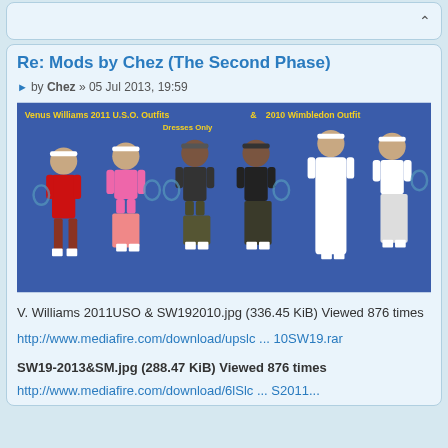Re: Mods by Chez (The Second Phase)
by Chez » 05 Jul 2013, 19:59
[Figure (photo): Six female tennis player character models wearing various outfits. Text overlay reads: Venus Williams 2011 U.S.O. Outfits & 2010 Wimbledon Outfit, Dresses Only. Players wear red, pink, black camo, and white outfits on blue background.]
V. Williams 2011USO & SW192010.jpg (336.45 KiB) Viewed 876 times
http://www.mediafire.com/download/upslc ... 10SW19.rar
SW19-2013&SM.jpg (288.47 KiB) Viewed 876 times
http://www.mediafire.com/download/6lSlc ... S2011...